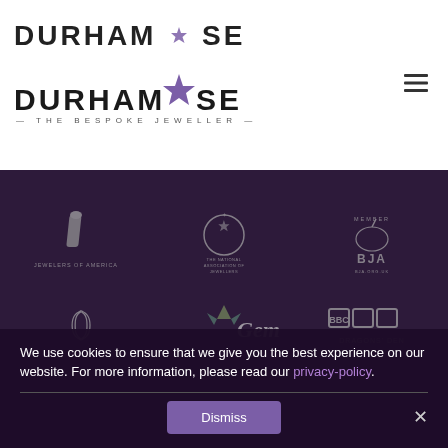[Figure (logo): Durham Rose - The Bespoke Jeweller logo with rose gem icon]
[Figure (infographic): Dark purple section with partner/accreditation logos: Jewelers of America, The National Association of Jewellers, BJA (British Jewellers Association), WDC, Gem-A, BBC Dragons Den]
We use cookies to ensure that we give you the best experience on our website. For more information, please read our privacy-policy.
Dismiss